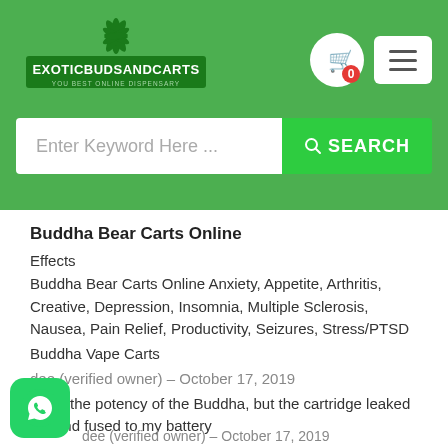[Figure (logo): ExoticBudsAndCarts logo with cannabis leaf icon and tagline 'YOU BEST ONLINE DISPENSARY']
Enter Keyword Here ...
Buddha Bear Carts Online
Effects
Buddha Bear Carts Online Anxiety, Appetite, Arthritis, Creative, Depression, Insomnia, Multiple Sclerosis, Nausea, Pain Relief, Productivity, Seizures, Stress/PTSD
Buddha Vape Carts
dee (verified owner) – October 17, 2019
I love the potency of the Buddha, but the cartridge leaked out and fused to my battery
dee (verified owner) – October 17, 2019